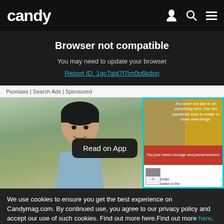candy
Browser not compatible
You may need to update your browser
Report ID: 1gc7qjd7l7lm0p6kdon
Psoriasis | Search Ads | Sponsored
[Figure (screenshot): Photo of a young man outdoors with green trees in background; overlapping card with motivational quotes and a 'Read on App' button overlay.]
We use cookies to ensure you get the best experience on Candymag.com. By continued use, you agree to our privacy policy and accept our use of such cookies. Find out more here.Find out more here.
I AGREE
I DISAGREE